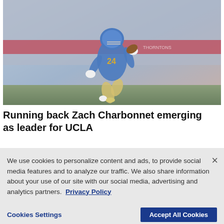[Figure (photo): UCLA football player #24 Zach Charbonnet in blue and gold uniform running with football during a game, crowd in background]
Running back Zach Charbonnet emerging as leader for UCLA
We use cookies to personalize content and ads, to provide social media features and to analyze our traffic. We also share information about your use of our site with our social media, advertising and analytics partners.  Privacy Policy
Cookies Settings    Accept All Cookies